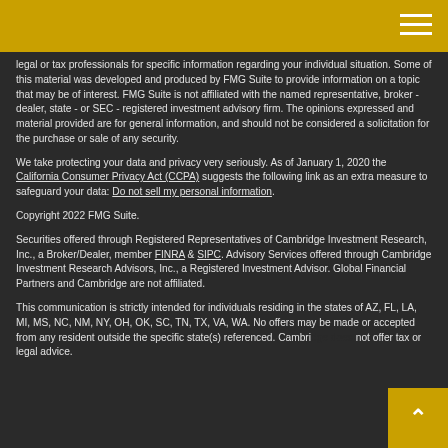legal or tax professionals for specific information regarding your individual situation. Some of this material was developed and produced by FMG Suite to provide information on a topic that may be of interest. FMG Suite is not affiliated with the named representative, broker - dealer, state - or SEC - registered investment advisory firm. The opinions expressed and material provided are for general information, and should not be considered a solicitation for the purchase or sale of any security.
We take protecting your data and privacy very seriously. As of January 1, 2020 the California Consumer Privacy Act (CCPA) suggests the following link as an extra measure to safeguard your data: Do not sell my personal information.
Copyright 2022 FMG Suite.
Securities offered through Registered Representatives of Cambridge Investment Research, Inc., a Broker/Dealer, member FINRA & SIPC. Advisory Services offered through Cambridge Investment Research Advisors, Inc., a Registered Investment Advisor. Global Financial Partners and Cambridge are not affiliated.
This communication is strictly intended for individuals residing in the states of AZ, FL, LA, MI, MS, NC, NM, NY, OH, OK, SC, TN, TX, VA, WA. No offers may be made or accepted from any resident outside the specific state(s) referenced. Cambridge does not offer tax or legal advice.